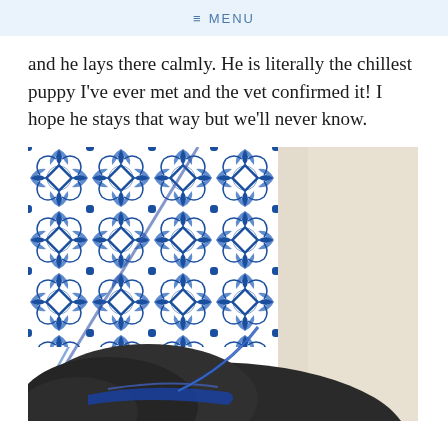≡ MENU
and he lays there calmly. He is literally the chillest puppy I've ever met and the vet confirmed it! I hope he stays that way but we'll never know.
[Figure (photo): A black puppy with a blue collar resting in front of a white and blue patterned decorative pillow on a light sofa]